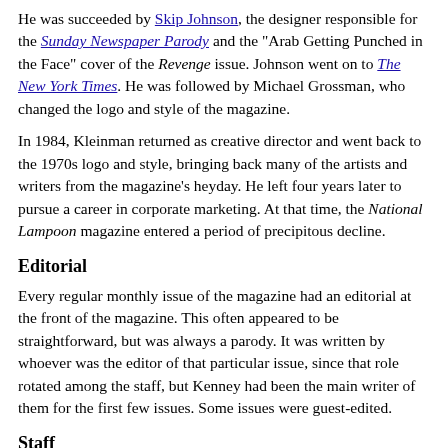He was succeeded by Skip Johnson, the designer responsible for the Sunday Newspaper Parody and the "Arab Getting Punched in the Face" cover of the Revenge issue. Johnson went on to The New York Times. He was followed by Michael Grossman, who changed the logo and style of the magazine.
In 1984, Kleinman returned as creative director and went back to the 1970s logo and style, bringing back many of the artists and writers from the magazine's heyday. He left four years later to pursue a career in corporate marketing. At that time, the National Lampoon magazine entered a period of precipitous decline.
Editorial
Every regular monthly issue of the magazine had an editorial at the front of the magazine. This often appeared to be straightforward, but was always a parody. It was written by whoever was the editor of that particular issue, since that role rotated among the staff, but Kenney had been the main writer of them for the first few issues. Some issues were guest-edited.
Staff
The magazine was an outlet for some notable writing talents...